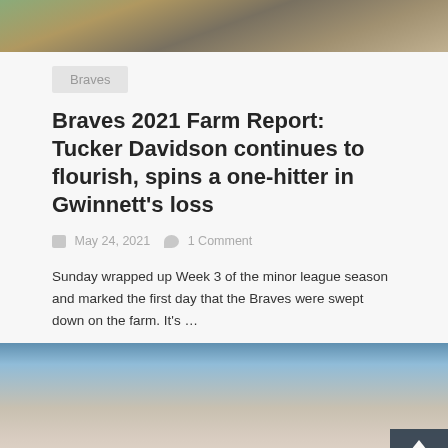[Figure (photo): Baseball field photo showing a player on a dirt infield, partially cropped at top]
Braves
Braves 2021 Farm Report: Tucker Davidson continues to flourish, spins a one-hitter in Gwinnett's loss
May 24, 2021   1 Comment
Sunday wrapped up Week 3 of the minor league season and marked the first day that the Braves were swept down on the farm. It's …
[Figure (photo): Baseball pitcher photo, partially cropped at bottom of page]